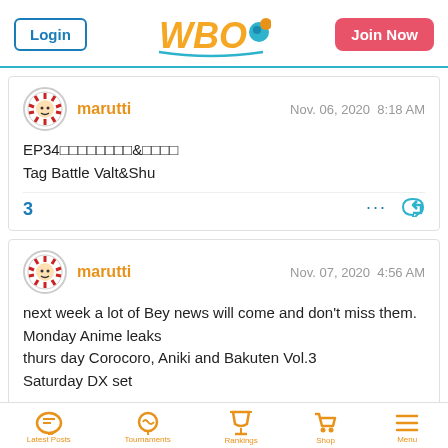Login | WBO Logo | Join Now
marutti  Nov. 06, 2020  8:18 AM
EP34□□□□□□□□&□□□□
Tag Battle Valt&Shu
3
marutti  Nov. 07, 2020  4:56 AM
next week a lot of Bey news will come and don't miss them.
Monday Anime leaks
thurs day Corocoro, Aniki and Bakuten Vol.3
Saturday DX set
Latest Posts | Tournaments | Rankings | Shop | Menu